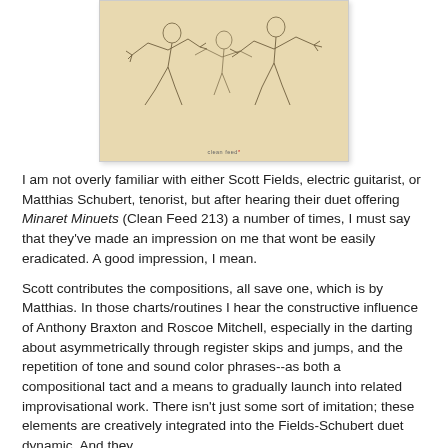[Figure (illustration): Album cover artwork showing sketched figures on a beige/tan background with 'clean feed' text and red logo mark at bottom center]
I am not overly familiar with either Scott Fields, electric guitarist, or Matthias Schubert, tenorist, but after hearing their duet offering Minaret Minuets (Clean Feed 213) a number of times, I must say that they've made an impression on me that wont be easily eradicated. A good impression, I mean.
Scott contributes the compositions, all save one, which is by Matthias. In those charts/routines I hear the constructive influence of Anthony Braxton and Roscoe Mitchell, especially in the darting about asymmetrically through register skips and jumps, and the repetition of tone and sound color phrases--as both a compositional tact and a means to gradually launch into related improvisational work. There isn't just some sort of imitation; these elements are creatively integrated into the Fields-Schubert duet dynamic. And they